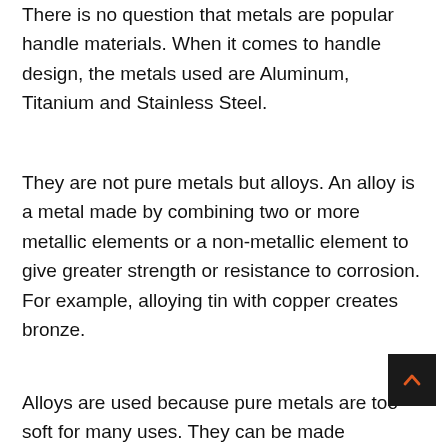There is no question that metals are popular handle materials. When it comes to handle design, the metals used are Aluminum, Titanium and Stainless Steel.
They are not pure metals but alloys. An alloy is a metal made by combining two or more metallic elements or a non-metallic element to give greater strength or resistance to corrosion. For example, alloying tin with copper creates bronze.
Alloys are used because pure metals are too soft for many uses. They can be made